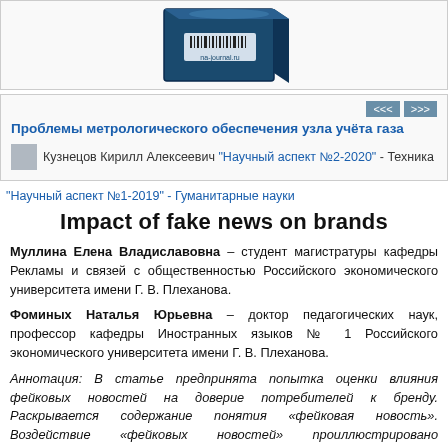[Figure (photo): Book/journal cover image showing a blue box with label 'na-journal.ru' and barcode]
<<< >>>
Проблемы метрологического обеспечения узла учёта газа
Кузнецов Кирилл Алексеевич "Научный аспект №2-2020" - Техника
"Научный аспект №1-2019" - Гуманитарные науки
Impact of fake news on brands
Муллина Елена Владиславовна – студент магистратуры кафедры Рекламы и связей с общественностью Российского экономического университета имени Г. В. Плеханова.
Фоминых Наталья Юрьевна – доктор педагогических наук, профессор кафедры Иностранных языков № 1 Российского экономического университета имени Г. В. Плеханова.
Аннотация: В статье предпринята попытка оценки влияния фейковых новостей на доверие потребителей к бренду. Раскрывается содержание понятия «фейковая новость». Воздействие «фейковых новостей» проиллюстрировано конкретными примерами из российской и зарубежной практики брендинга.